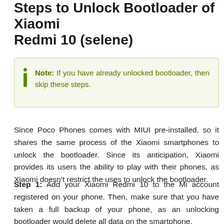Steps to Unlock Bootloader of Xiaomi Redmi 10 (selene)
Note: If you have already unlocked bootloader, then skip these steps.
Since Poco Phones comes with MIUI pre-installed, so it shares the same process of the Xiaomi smartphones to unlock the bootloader. Since its anticipation, Xiaomi provides its users the ability to play with their phones, as Xiaomi doesn't restrict the uses to unlock the bootloader.
Step 1: Add your Xiaomi Redmi 10 to the Mi account registered on your phone. Then, make sure that you have taken a full backup of your phone, as an unlocking bootloader would delete all data on the smartphone.